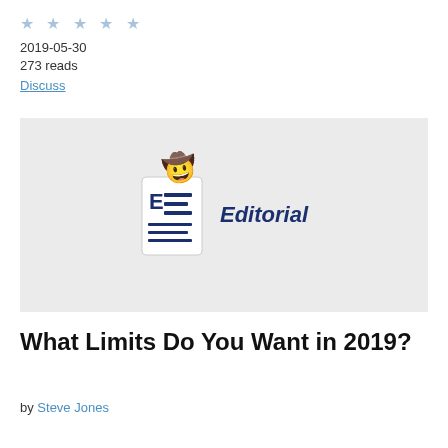★ ★ ★ ★ ★
2019-05-30
273 reads
Discuss
[Figure (illustration): Editorial banner image with a document icon wearing a cowboy hat and the word 'Editorial' in dark blue italic bold text on a light gray background.]
What Limits Do You Want in 2019?
by Steve Jones